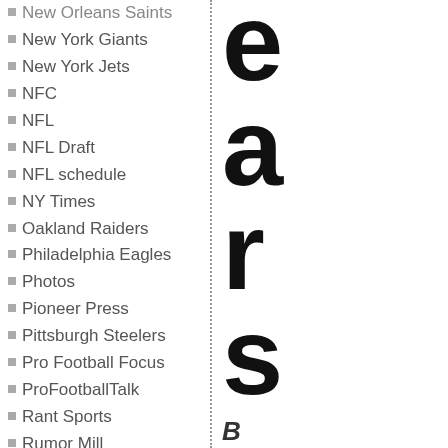New Orleans Saints
New York Giants
New York Jets
NFC
NFL
NFL Draft
NFL schedule
NY Times
Oakland Raiders
Philadelphia Eagles
Photos
Pioneer Press
Pittsburgh Steelers
Pro Football Focus
ProFootballTalk
Rant Sports
Rumor Mill
San Francisco 49ers
Seattle Seahawks
StarTribune
Tampa Bay Buccaneers
Team & Player News